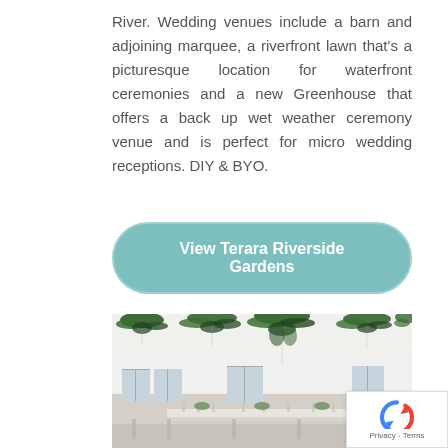River. Wedding venues include a barn and adjoining marquee, a riverfront lawn that's a picturesque location for waterfront ceremonies and a new Greenhouse that offers a back up wet weather ceremony venue and is perfect for micro wedding receptions. DIY & BYO.
[Figure (other): Teal rounded button with white bold text reading 'View Terara Riverside Gardens']
[Figure (photo): Interior of a wedding reception venue with white walls and large windows. Hanging green tropical plant decorations suspended from the ceiling with fairy lights. Long tables set with white linens, glassware, and floral centerpieces.]